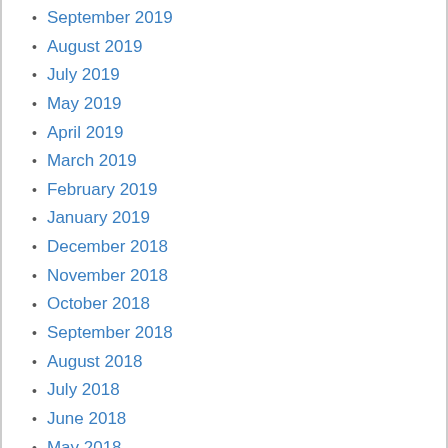September 2019
August 2019
July 2019
May 2019
April 2019
March 2019
February 2019
January 2019
December 2018
November 2018
October 2018
September 2018
August 2018
July 2018
June 2018
May 2018
April 2018
March 2018
February 2018
December 2017
November 2017
October 2017
September 2017